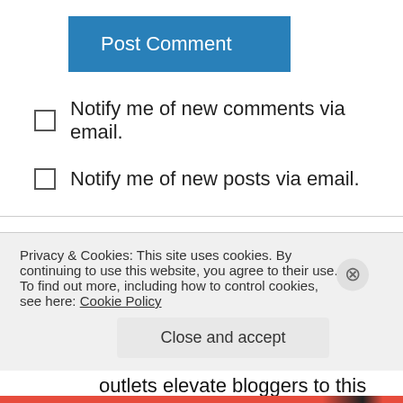[Figure (other): Blue 'Post Comment' button]
Notify me of new comments via email.
Notify me of new posts via email.
John Feeney on August 23, 2007 at 6:33 pm
Readers get confused between a true blogger or journalist blogging. And true to form lately media outlets elevate bloggers to this status because of
Privacy & Cookies: This site uses cookies. By continuing to use this website, you agree to their use.
To find out more, including how to control cookies, see here: Cookie Policy
Close and accept